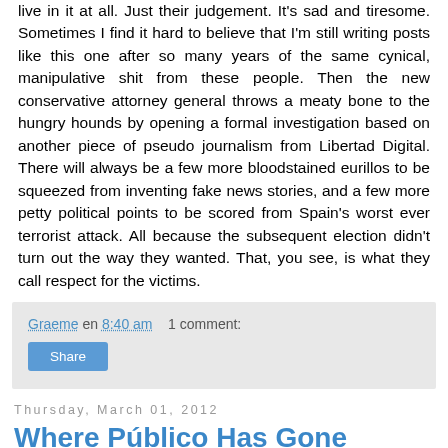live in it at all. Just their judgement. It's sad and tiresome. Sometimes I find it hard to believe that I'm still writing posts like this one after so many years of the same cynical, manipulative shit from these people. Then the new conservative attorney general throws a meaty bone to the hungry hounds by opening a formal investigation based on another piece of pseudo journalism from Libertad Digital. There will always be a few more bloodstained eurillos to be squeezed from inventing fake news stories, and a few more petty political points to be scored from Spain's worst ever terrorist attack. All because the subsequent election didn't turn out the way they wanted. That, you see, is what they call respect for the victims.
Graeme en 8:40 am    1 comment:
Share
Thursday, March 01, 2012
Where Público Has Gone Others Will Surely Follow